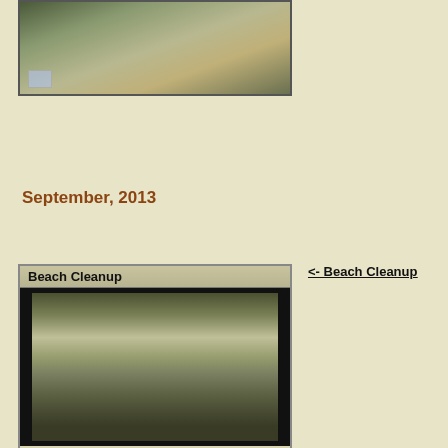[Figure (photo): Top photo showing people outdoors, partial view]
September, 2013
Beach Cleanup
[Figure (photo): Group photo of children and adults in olive/green t-shirts standing under a covered structure outdoors]
<- Beach Cleanup